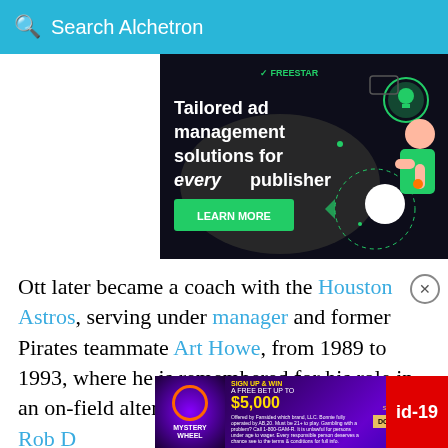Search Alchetron
[Figure (screenshot): Freestar advertisement: 'Tailored ad management solutions for every publisher' with LEARN MORE button on dark background with illustrated character]
Ott later became a coach with the Houston Astros, serving under manager and former Pirates teammate Art Howe, from 1989 to 1993, where he is remembered for his role in an on-field altercation against Rob D...
[Figure (screenshot): Mystery Wheel Sign Up & Win A Free Bet Up To $5,000 Hard Rock Sportsbook Download Now advertisement banner]
id-19